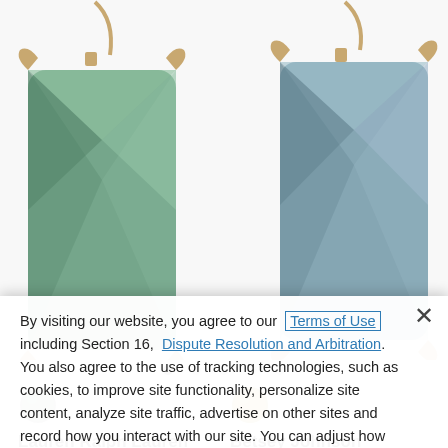[Figure (photo): Two green gemstone drop earrings with gold-tone prong settings photographed on white background]
• • • • •  (carousel dots)
[Figure (other): Green color swatch circle for Lauren Ralph Lauren product]
[Figure (other): Gold/yellow color swatch circle for Betsey Johnson product]
Lauren Ralph Lauren
Stone Gold Tone Drop
Betsey Johnson
Bow Statement Earrings
By visiting our website, you agree to our Terms of Use including Section 16, Dispute Resolution and Arbitration. You also agree to the use of tracking technologies, such as cookies, to improve site functionality, personalize site content, analyze site traffic, advertise on other sites and record how you interact with our site. You can adjust how certain technologies are used on our site through Cookie Settings.